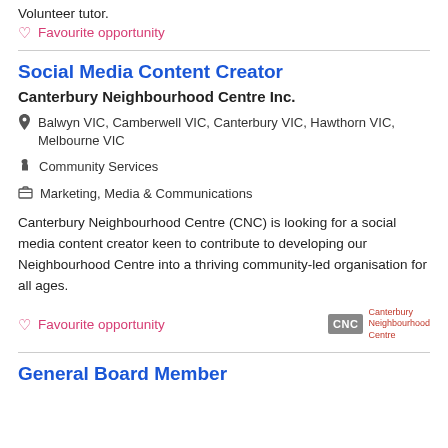Volunteer tutor.
♡  Favourite opportunity
Social Media Content Creator
Canterbury Neighbourhood Centre Inc.
📍 Balwyn VIC, Camberwell VIC, Canterbury VIC, Hawthorn VIC, Melbourne VIC
🎗 Community Services
🗂 Marketing, Media & Communications
Canterbury Neighbourhood Centre (CNC) is looking for a social media content creator keen to contribute to developing our Neighbourhood Centre into a thriving community-led organisation for all ages.
♡  Favourite opportunity
[Figure (logo): Canterbury Neighbourhood Centre (CNC) logo — grey box with 'CNC' in white text, followed by 'Canterbury Neighbourhood Centre' in red text]
General Board Member